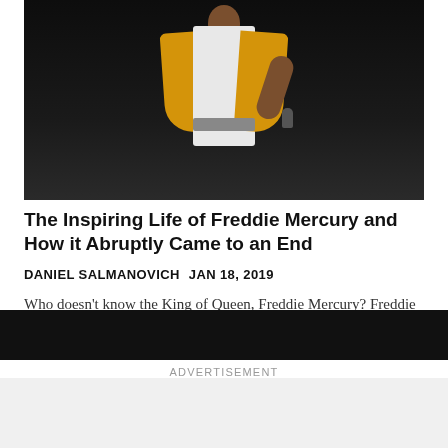[Figure (photo): Photo of a performer (Freddie Mercury tribute/portrayal) wearing a yellow jacket and white outfit, holding a microphone on a dark stage]
The Inspiring Life of Freddie Mercury and How it Abruptly Came to an End
DANIEL SALMANOVICH  JAN 18, 2019
Who doesn't know the King of Queen, Freddie Mercury? Freddie Mercury whose real name was Farrokh Bulsara created a fusion of pop rock and hard rock th…
ADVERTISEMENT